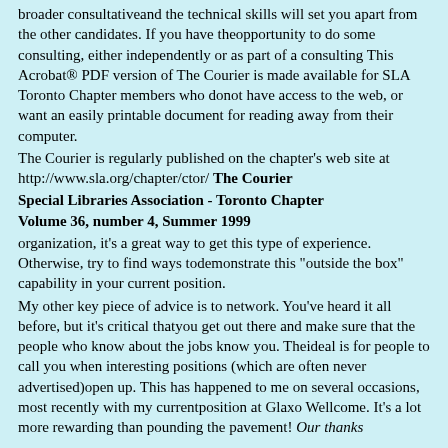broader consultativeand the technical skills will set you apart from the other candidates. If you have theopportunity to do some consulting, either independently or as part of a consulting This Acrobat® PDF version of The Courier is made available for SLA Toronto Chapter members who donot have access to the web, or want an easily printable document for reading away from their computer.
The Courier is regularly published on the chapter's web site at http://www.sla.org/chapter/ctor/ The Courier
Special Libraries Association - Toronto Chapter Volume 36, number 4, Summer 1999
organization, it's a great way to get this type of experience. Otherwise, try to find ways todemonstrate this "outside the box" capability in your current position.
My other key piece of advice is to network. You've heard it all before, but it's critical thatyou get out there and make sure that the people who know about the jobs know you. Theideal is for people to call you when interesting positions (which are often never advertised)open up. This has happened to me on several occasions, most recently with my currentposition at Glaxo Wellcome. It's a lot more rewarding than pounding the pavement! Our thanks